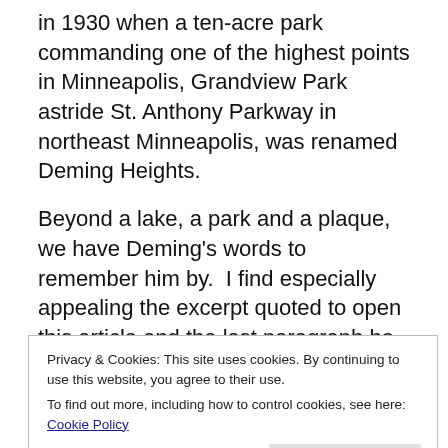in 1930 when a ten-acre park commanding one of the highest points in Minneapolis, Grandview Park astride St. Anthony Parkway in northeast Minneapolis, was renamed Deming Heights.
Beyond a lake, a park and a plaque, we have Deming's words to remember him by.  I find especially appealing the excerpt quoted to open this article and the last paragraph he wrote for the 1915 Annual Report:
The story of the Board's work for these past thirty-three years is impressed upon our City as upon an open book
[Figure (screenshot): Cookie consent banner reading: 'Privacy & Cookies: This site uses cookies. By continuing to use this website, you agree to their use. To find out more, including how to control cookies, see here: Cookie Policy' with a 'Close and accept' button.]
demanded and created. It has aimed to carry the